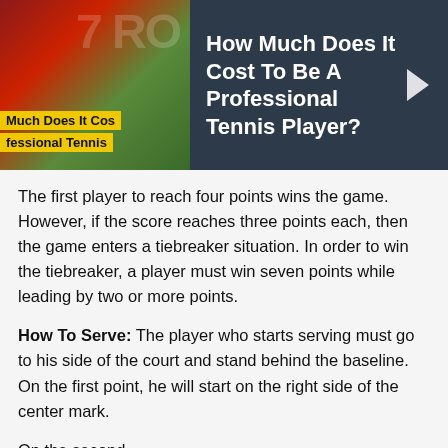[Figure (screenshot): Banner showing a tennis player image on the left with yellow text overlay reading 'Much Does It Cos' and 'fessional Tennis', alongside a dark blue-grey background with white text reading 'How Much Does It Cost To Be A Professional Tennis Player?' and a right arrow chevron.]
The first player to reach four points wins the game. However, if the score reaches three points each, then the game enters a tiebreaker situation. In order to win the tiebreaker, a player must win seven points while leading by two or more points.
How To Serve: The player who starts serving must go to his side of the court and stand behind the baseline. On the first point, he will start on the right side of the center mark.
On the second...he will start on the left side and will...